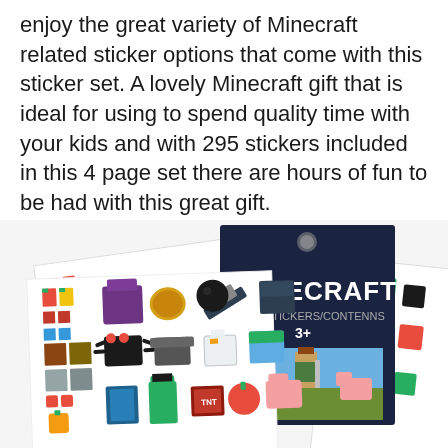enjoy the great variety of Minecraft related sticker options that come with this sticker set. A lovely Minecraft gift that is ideal for using to spend quality time with your kids and with 295 stickers included in this 4 page set there are hours of fun to be had with this great gift.
[Figure (photo): Product photo showing Minecraft sticker set packaging — multiple sticker sheets fanned out displaying colorful pixel-art Minecraft character and item stickers, with a dark Minecraft-branded header card showing 'MINECRAFT' logo, '3+' age rating, and sticker sheets filled with Minecraft game icons.]